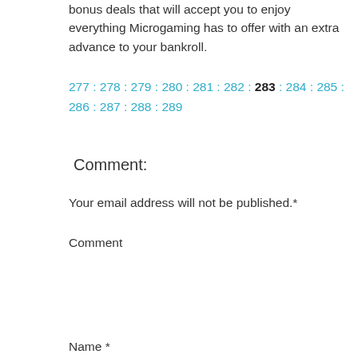bonus deals that will accept you to enjoy everything Microgaming has to offer with an extra advance to your bankroll.
277 : 278 : 279 : 280 : 281 : 282 : 283 : 284 : 285 : 286 : 287 : 288 : 289
Comment:
Your email address will not be published.*
Comment
Name *